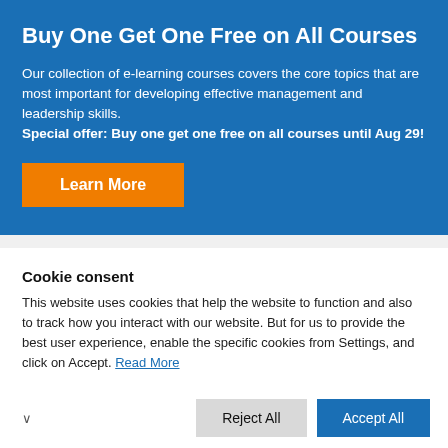Buy One Get One Free on All Courses
Our collection of e-learning courses covers the core topics that are most important for developing effective management and leadership skills. Special offer: Buy one get one free on all courses until Aug 29!
[Figure (other): Orange 'Learn More' button]
Cookie consent
This website uses cookies that help the website to function and also to track how you interact with our website. But for us to provide the best user experience, enable the specific cookies from Settings, and click on Accept. Read More
[Figure (other): Cookie consent buttons: Reject All and Accept All]